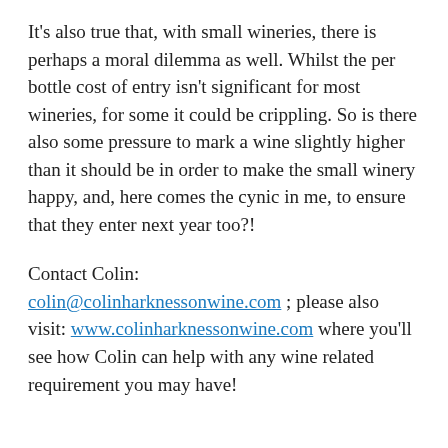It's also true that, with small wineries, there is perhaps a moral dilemma as well. Whilst the per bottle cost of entry isn't significant for most wineries, for some it could be crippling. So is there also some pressure to mark a wine slightly higher than it should be in order to make the small winery happy, and, here comes the cynic in me, to ensure that they enter next year too?!
Contact Colin: colin@colinharknessonwine.com ; please also visit: www.colinharknessonwine.com where you'll see how Colin can help with any wine related requirement you may have!